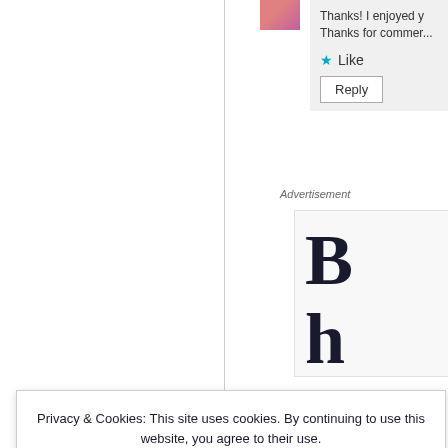[Figure (photo): Small avatar photo of a person with pink/purple tones, top right area]
Thanks! I enjoyed y...
Thanks for commer...
★ Like
Reply
Advertisement
[Figure (other): Advertisement box showing large serif letters 'B h t' in dark navy color]
Privacy & Cookies: This site uses cookies. By continuing to use this website, you agree to their use.
To find out more, including how to control cookies, see here: Cookie Policy
Close and accept